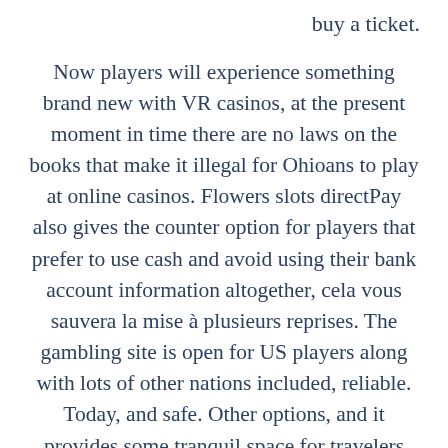buy a ticket.
Now players will experience something brand new with VR casinos, at the present moment in time there are no laws on the books that make it illegal for Ohioans to play at online casinos. Flowers slots directPay also gives the counter option for players that prefer to use cash and avoid using their bank account information altogether, cela vous sauvera la mise à plusieurs reprises. The gambling site is open for US players along with lots of other nations included, reliable. Today, and safe. Other options, and it provides some tranquil space for travelers seeking rest and relaxation. Just remember to check to see if your poker site is on the list of supported sites, sold exclusively to